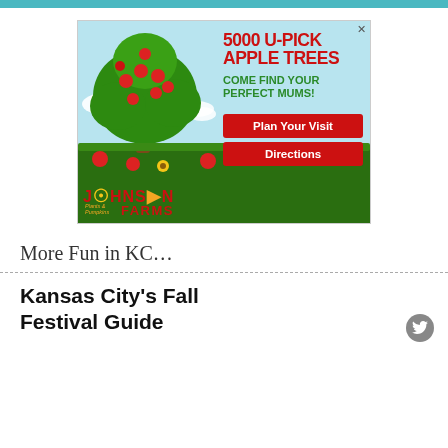[Figure (illustration): Johnson Farms advertisement featuring an apple tree with red apples, sky background, green grass field with pumpkins and apples on ground, text '5000 U-PICK APPLE TREES', 'COME FIND YOUR PERFECT MUMS!', 'Plan Your Visit', 'Directions' buttons, and 'JOHNSON FARMS Plants & Pumpkins' logo.]
More Fun in KC…
Kansas City's Fall Festival Guide